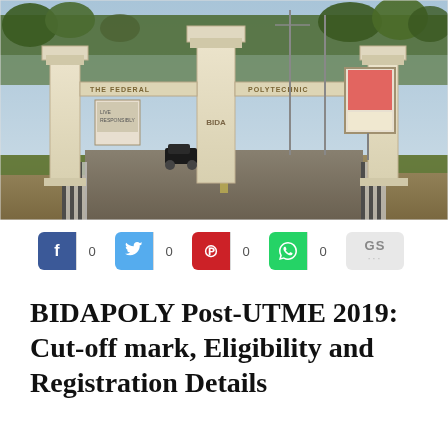[Figure (photo): Exterior gate of The Federal Polytechnic Bida (BIDAPOLY) showing large white concrete gate pillars with 'THE FEDERAL' on the left beam and 'POLYTECHNIC' on the right beam, 'BIDA' on the center pillar. A road leads through the gate, with a car parked near the center. Billboard and trees visible in background.]
[Figure (infographic): Social share buttons row: Facebook (blue, f, count 0), Twitter (light blue, bird icon, count 0), Pinterest (red, p symbol, count 0), WhatsApp (green, phone icon, count 0), Google Share (grey, GS label with ellipsis)]
BIDAPOLY Post-UTME 2019: Cut-off mark, Eligibility and Registration Details